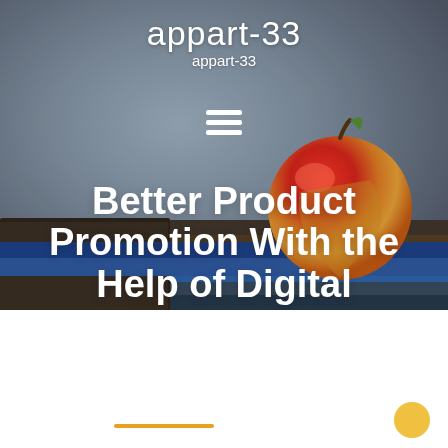[Figure (photo): Website screenshot showing a blog header with title 'appart-33', subtitle 'appart-33', a hamburger menu icon, a background photo of books stacked with a red apple on top against a grey textured background, and a large bold headline 'Better Product Promotion With the Help of Digital' overlaid on the image. Below the image is a white section with an orange horizontal line and a yellow circle.]
appart-33
appart-33
Better Product Promotion With the Help of Digital